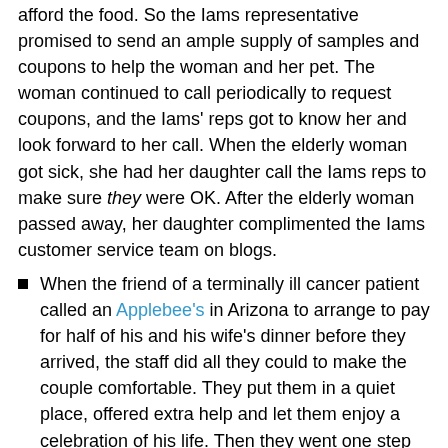afford the food. So the Iams representative promised to send an ample supply of samples and coupons to help the woman and her pet. The woman continued to call periodically to request coupons, and the Iams' reps got to know her and look forward to her call. When the elderly woman got sick, she had her daughter call the Iams reps to make sure they were OK. After the elderly woman passed away, her daughter complimented the Iams customer service team on blogs.
When the friend of a terminally ill cancer patient called an Applebee's in Arizona to arrange to pay for half of his and his wife's dinner before they arrived, the staff did all they could to make the couple comfortable. They put them in a quiet place, offered extra help and let them enjoy a celebration of his life. Then they went one step further. The wait staff refused to let the couple pay for anything, pulling their money to pay the bill.